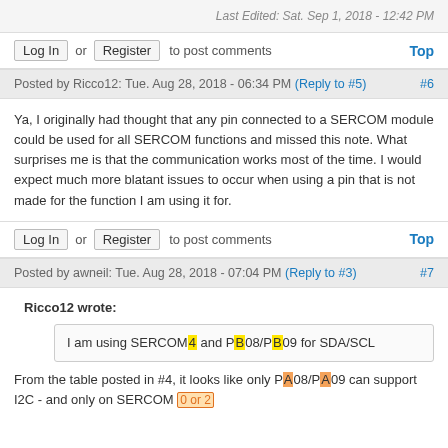Last Edited: Sat. Sep 1, 2018 - 12:42 PM
Log In or Register to post comments  Top
Posted by Ricco12: Tue. Aug 28, 2018 - 06:34 PM (Reply to #5) #6
Ya, I originally had thought that any pin connected to a SERCOM module could be used for all SERCOM functions and missed this note. What surprises me is that the communication works most of the time. I would expect much more blatant issues to occur when using a pin that is not made for the function I am using it for.
Log In or Register to post comments  Top
Posted by awneil: Tue. Aug 28, 2018 - 07:04 PM (Reply to #3) #7
Ricco12 wrote:
I am using SERCOM4 and PB08/PB09 for SDA/SCL
From the table posted in #4, it looks like only PA08/PA09 can support I2C - and only on SERCOM 0 or 2